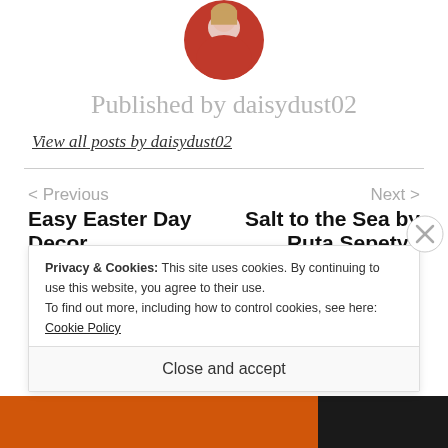[Figure (photo): Circular cropped profile photo showing a person wearing red, partially visible at top of page]
Published by daisydust02
View all posts by daisydust02
< Previous
Next >
Easy Easter Day Decor
Salt to the Sea by Ruta Sepetys
Privacy & Cookies: This site uses cookies. By continuing to use this website, you agree to their use.
To find out more, including how to control cookies, see here: Cookie Policy
Close and accept